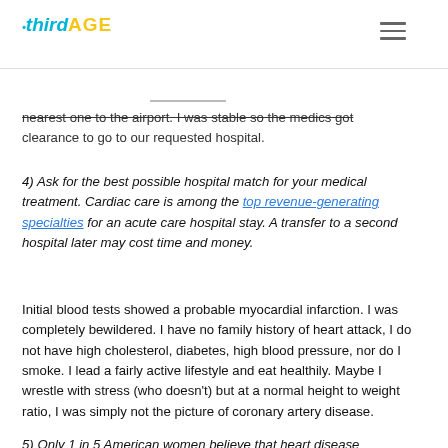thirdAGE
nearest one to the airport. I was stable so the medics got clearance to go to our requested hospital.
4) Ask for the best possible hospital match for your medical treatment. Cardiac care is among the top revenue-generating specialties for an acute care hospital stay. A transfer to a second hospital later may cost time and money.
Initial blood tests showed a probable myocardial infarction. I was completely bewildered. I have no family history of heart attack, I do not have high cholesterol, diabetes, high blood pressure, nor do I smoke. I lead a fairly active lifestyle and eat healthily. Maybe I wrestle with stress (who doesn't) but at a normal height to weight ratio, I was simply not the picture of coronary artery disease.
5) Only 1 in 5 American women believe that heart disease